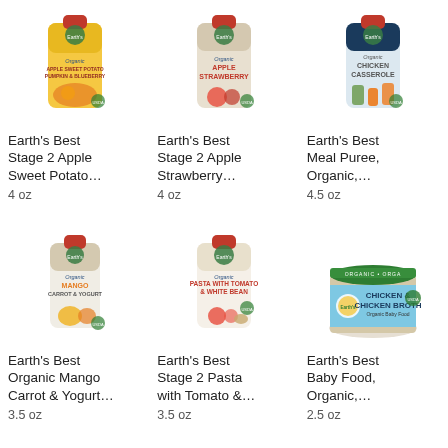[Figure (photo): Earth's Best Stage 2 Apple Sweet Potato Pumpkin & Blueberry baby food pouch with red cap]
Earth's Best Stage 2 Apple Sweet Potato...
4 oz
[Figure (photo): Earth's Best Stage 2 Apple Strawberry baby food pouch with red cap]
Earth's Best Stage 2 Apple Strawberry...
4 oz
[Figure (photo): Earth's Best Meal Puree Organic Chicken Casserole baby food pouch with red cap]
Earth's Best Meal Puree, Organic,...
4.5 oz
[Figure (photo): Earth's Best Organic Mango Carrot & Yogurt baby food pouch with red cap]
Earth's Best Organic Mango Carrot & Yogurt...
3.5 oz
[Figure (photo): Earth's Best Stage 2 Pasta with Tomato & White Bean baby food pouch with red cap]
Earth's Best Stage 2 Pasta with Tomato &...
3.5 oz
[Figure (photo): Earth's Best Baby Food Organic Chicken & Chicken Broth glass jar with green lid]
Earth's Best Baby Food, Organic,...
2.5 oz